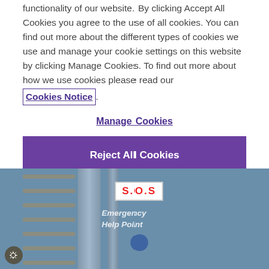functionality of our website. By clicking Accept All Cookies you agree to the use of all cookies. You can find out more about the different types of cookies we use and manage your cookie settings on this website by clicking Manage Cookies. To find out more about how we use cookies please read our Cookies Notice.
Manage Cookies
Reject All Cookies
Accept All Cookies
[Figure (photo): Photograph of an S.O.S Emergency Help Point metal kiosk/cabinet with ladder rungs visible on the left side, against a blue sky background.]